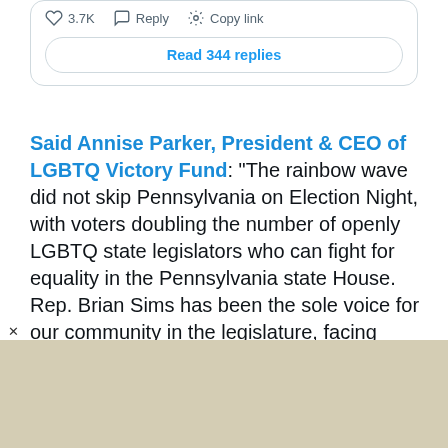3.7K   Reply   Copy link
Read 344 replies
Said Annise Parker, President & CEO of LGBTQ Victory Fund: “The rainbow wave did not skip Pennsylvania on Election Night, with voters doubling the number of openly LGBTQ state legislators who can fight for equality in the Pennsylvania state House. Rep. Brian Sims has been the sole voice for our community in the legislature, facing down one of the most homophobic